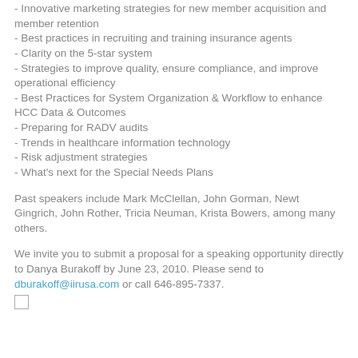- Innovative marketing strategies for new member acquisition and member retention
- Best practices in recruiting and training insurance agents
- Clarity on the 5-star system
- Strategies to improve quality, ensure compliance, and improve operational efficiency
- Best Practices for System Organization & Workflow to enhance HCC Data & Outcomes
- Preparing for RADV audits
- Trends in healthcare information technology
- Risk adjustment strategies
- What's next for the Special Needs Plans
Past speakers include Mark McClellan, John Gorman, Newt Gingrich, John Rother, Tricia Neuman, Krista Bowers, among many others.
We invite you to submit a proposal for a speaking opportunity directly to Danya Burakoff by June 23, 2010. Please send to dburakoff@iirusa.com or call 646-895-7337.